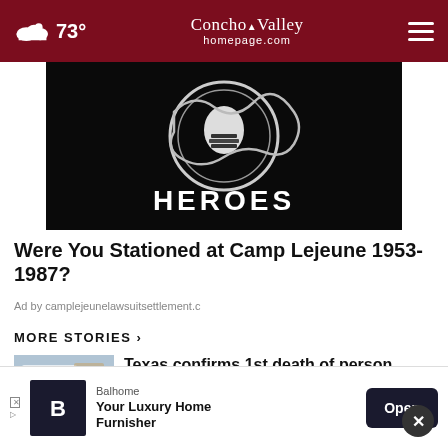73° | Concho Valley homepage.com
[Figure (photo): Black and white military/heroes themed graphic with circular badge and text HEROES at bottom]
Were You Stationed at Camp Lejeune 1953-1987?
Ad by camplejeunelawsuitsettlement.c
MORE STORIES ›
[Figure (photo): Thumbnail image of monkeypox vaccination clinic sign]
Texas confirms 1st death of person infected with …
[Figure (photo): Thumbnail image of police lights at night]
Man arrested for allegedly firing at EMS officials …
[Figure (logo): Balhome logo - luxury home furnisher advertisement overlay with Open button]